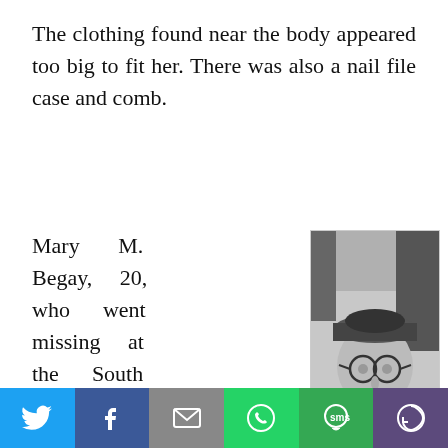The clothing found near the body appeared too big to fit her. There was also a nail file case and comb.
Mary M. Begay, 20, who went missing at the South Rim in 1957, was excluded as well for being Little
[Figure (photo): Black and white photograph of an elderly man wearing glasses and a cap, seated indoors.]
Social sharing toolbar: Twitter, Facebook, Email, WhatsApp, SMS, More